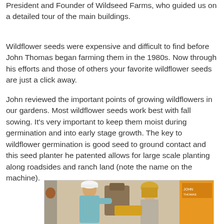President and Founder of Wildseed Farms, who guided us on a detailed tour of the main buildings.
Wildflower seeds were expensive and difficult to find before John Thomas began farming them in the 1980s.  Now through his efforts and those of others your favorite wildflower seeds are just a click away.
John reviewed the important points of growing wildflowers in our gardens.  Most wildflower seeds work best with fall sowing.  It's very important to keep them moist during germination and into early stage growth.   The key to wildflower germination is good seed to ground contact and this seed planter he patented allows for large scale planting along roadsides and ranch land (note the name on the machine).
[Figure (photo): A man in a light blue shirt and white cap handing something to a woman with blonde hair, with a yellow machine visible in the background.]